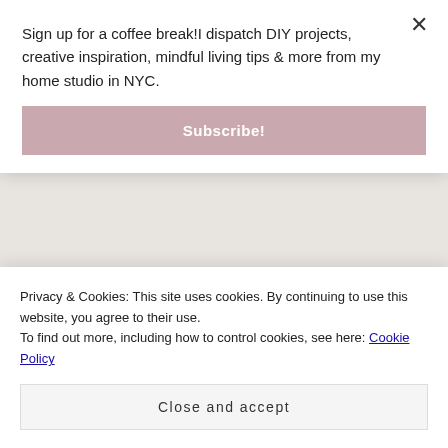Sign up for a coffee break!I dispatch DIY projects, creative inspiration, mindful living tips & more from my home studio in NYC.
Subscribe!
[Figure (photo): Photo of Halloween-themed terracotta pots painted as jack-o'-lanterns arranged on a colorful runner on a wooden table, with small pumpkin decorations.]
In DIY PROJECTS / FALL
Privacy & Cookies: This site uses cookies. By continuing to use this website, you agree to their use.
To find out more, including how to control cookies, see here: Cookie Policy
Close and accept
spooky movie, and come hang out with